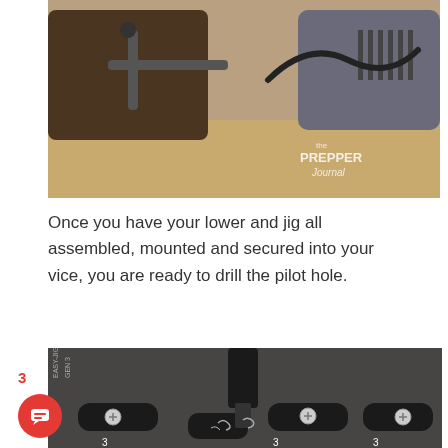[Figure (photo): Photo of a miter saw or drill press setup on a wooden workbench, with a power tool cable visible. A watermark reads 'the PREPPER Journal' in the lower right corner.]
Once you have your lower and jig all assembled, mounted and secured into your vice, you are ready to drill the pilot hole.
[Figure (photo): Close-up photo of a drill bit going into an 80% lower receiver jig labeled 'EASY-JIG GEN 3', with metal shavings visible. A red badge with number '3' and a chat icon appear in the lower left.]